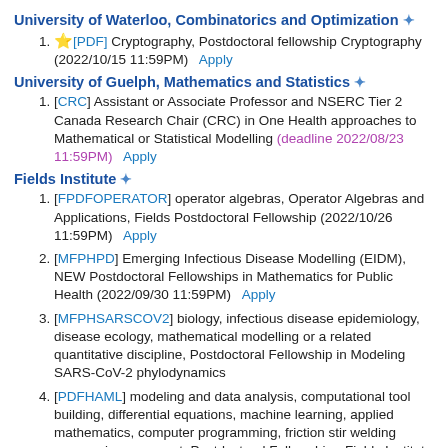University of Waterloo, Combinatorics and Optimization *
[PDF] Cryptography, Postdoctoral fellowship Cryptography (2022/10/15 11:59PM)   Apply
University of Guelph, Mathematics and Statistics *
[CRC] Assistant or Associate Professor and NSERC Tier 2 Canada Research Chair (CRC) in One Health approaches to Mathematical or Statistical Modelling (deadline 2022/08/23 11:59PM)   Apply
Fields Institute *
[FPDFOPERATOR] operator algebras, Operator Algebras and Applications, Fields Postdoctoral Fellowship (2022/10/26 11:59PM)   Apply
[MFPHPD] Emerging Infectious Disease Modelling (EIDM), NEW Postdoctoral Fellowships in Mathematics for Public Health (2022/09/30 11:59PM)   Apply
[MFPHSARSCOV2] biology, infectious disease epidemiology, disease ecology, mathematical modelling or a related quantitative discipline, Postdoctoral Fellowship in Modeling SARS-CoV-2 phylodynamics
[PDFHAML] modeling and data analysis, computational tool building, differential equations, machine learning, applied mathematics, computer programming, friction stir welding process improvement, Postdoctoral Fellowship - Fields Institute Health